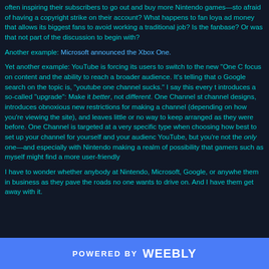often inspiring their subscribers to go out and buy more Nintendo games—sto afraid of having a copyright strike on their account? What happens to fan loya ad money that allows its biggest fans to avoid working a traditional job? Is the fanbase? Or was that not part of the discussion to begin with?
Another example: Microsoft announced the Xbox One.
Yet another example: YouTube is forcing its users to switch to the new "One C focus on content and the ability to reach a broader audience. It's telling that o Google search on the topic is, "youtube one channel sucks." I say this every t introduces a so-called "upgrade": Make it better, not different. One Channel st channel designs, introduces obnoxious new restrictions for making a channel (depending on how you're viewing the site), and leaves little or no way to keep arranged as they were before. One Channel is targeted at a very specific type when choosing how best to set up your channel for yourself and your audienc YouTube, but you're not the only one—and especially with Nintendo making a realm of possibility that gamers such as myself might find a more user-friendly
I have to wonder whether anybody at Nintendo, Microsoft, Google, or anywhe them in business as they pave the roads no one wants to drive on. And I have them get away with it.
POWERED BY Weebly